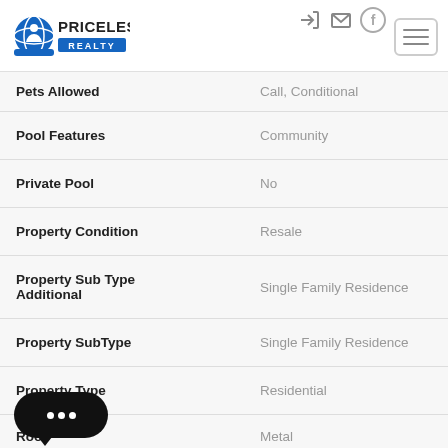[Figure (logo): Priceless Realty logo with globe icon]
| Field | Value |
| --- | --- |
| Pets Allowed | Call, Conditional |
| Pool Features | Community |
| Private Pool | No |
| Property Condition | Resale |
| Property Sub Type Additional | Single Family Residence |
| Property SubType | Single Family Residence |
| Property Type | Residential |
| Roof | Metal |